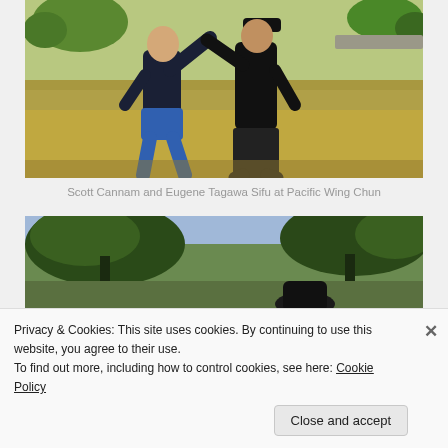[Figure (photo): Two men practicing Wing Chun martial arts on a grassy outdoor field. One man wears a blue shirt and shorts, the other wears a black shirt and dark pants. Trees and a road are visible in the background.]
Scott Cannam and Eugene Tagawa Sifu at Pacific Wing Chun
[Figure (photo): Outdoor scene showing trees with green foliage against a bright sky, partial view of people below.]
Privacy & Cookies: This site uses cookies. By continuing to use this website, you agree to their use.
To find out more, including how to control cookies, see here: Cookie Policy
Close and accept